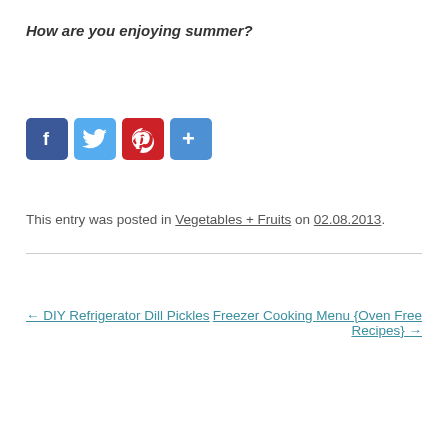How are you enjoying summer?
[Figure (other): Social share buttons: Facebook (blue), Twitter (light blue), Pinterest (red), Share/More (blue)]
This entry was posted in Vegetables + Fruits on 02.08.2013.
← DIY Refrigerator Dill Pickles
Freezer Cooking Menu {Oven Free Recipes} →